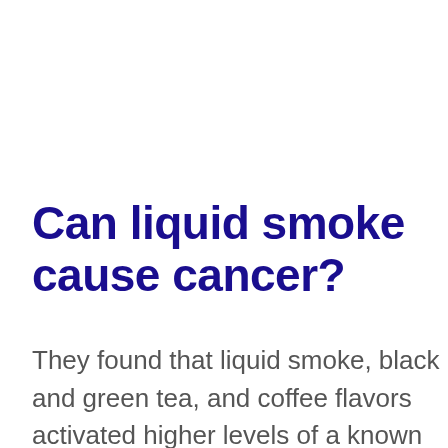Can liquid smoke cause cancer?
They found that liquid smoke, black and green tea, and coffee flavors activated higher levels of a known